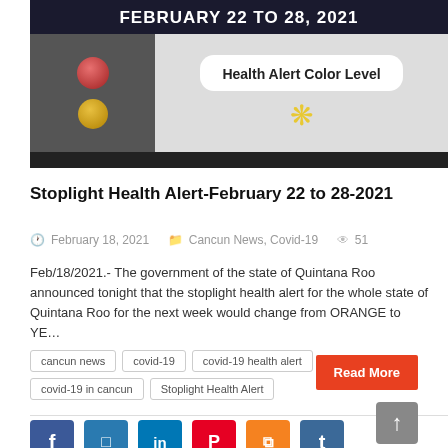[Figure (screenshot): Hero image showing 'FEBRUARY 22 TO 28, 2021' text on dark background with Health Alert Color Level box and yellow coronavirus icon, plus red and gold traffic light circles]
Stoplight Health Alert-February 22 to 28-2021
February 18, 2021  Cancun News, Covid-19  51
Feb/18/2021.- The government of the state of Quintana Roo announced tonight that the stoplight health alert for the whole state of Quintana Roo for the next week would change from ORANGE to YE…
cancun news
covid-19
covid-19 health alert
covid-19 in cancun
Stoplight Health Alert